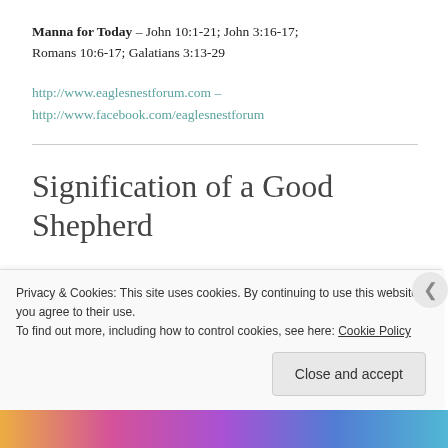Manna for Today – John 10:1-21; John 3:16-17; Romans 10:6-17; Galatians 3:13-29
http://www.eaglesnestforum.com – http://www.facebook.com/eaglesnestforum
Signification of a Good Shepherd
Privacy & Cookies: This site uses cookies. By continuing to use this website, you agree to their use.
To find out more, including how to control cookies, see here: Cookie Policy
Close and accept